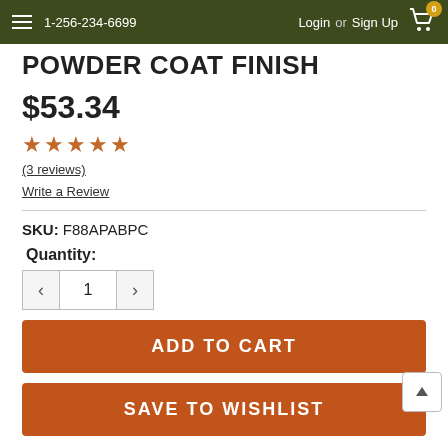1-256-234-6699  Login or Sign Up  Cart: 0
POWDER COAT FINISH
$53.34
[Figure (other): Five orange star rating icons]
(3 reviews)
Write a Review
SKU: F88APABPC
Quantity: 1
ADD TO CART
SAVE TO WISHLIST